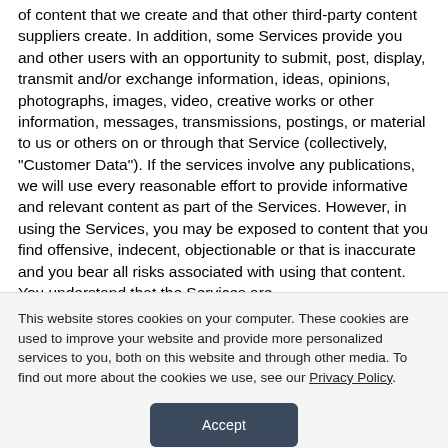of content that we create and that other third-party content suppliers create. In addition, some Services provide you and other users with an opportunity to submit, post, display, transmit and/or exchange information, ideas, opinions, photographs, images, video, creative works or other information, messages, transmissions, postings, or material to us or others on or through that Service (collectively, "Customer Data"). If the services involve any publications, we will use every reasonable effort to provide informative and relevant content as part of the Services. However, in using the Services, you may be exposed to content that you find offensive, indecent, objectionable or that is inaccurate and you bear all risks associated with using that content. You understand that the Services are
This website stores cookies on your computer. These cookies are used to improve your website and provide more personalized services to you, both on this website and through other media. To find out more about the cookies we use, see our Privacy Policy.